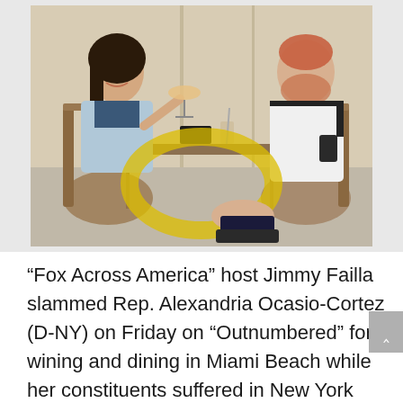[Figure (photo): Two people sitting at an outdoor restaurant table. A woman on the left in a light blue jacket holds up a cocktail glass, smiling. A man on the right with a beard wears a white polo shirt. The image has a yellow circle watermark overlay on the lower center portion.]
“Fox Across America” host Jimmy Failla slammed Rep. Alexandria Ocasio-Cortez (D-NY) on Friday on “Outnumbered” for wining and dining in Miami Beach while her constituents suffered in New York under COVID mandates, stating that was how she “lost the locker room.”